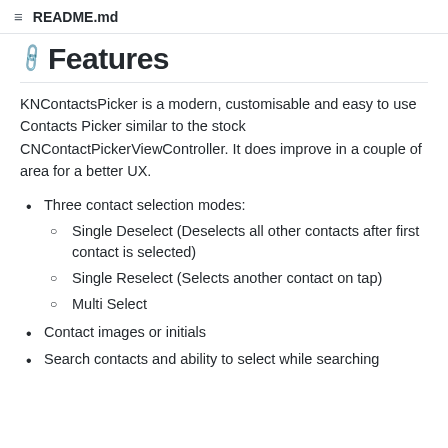README.md
Features
KNContactsPicker is a modern, customisable and easy to use Contacts Picker similar to the stock CNContactPickerViewController. It does improve in a couple of area for a better UX.
Three contact selection modes:
Single Deselect (Deselects all other contacts after first contact is selected)
Single Reselect (Selects another contact on tap)
Multi Select
Contact images or initials
Search contacts and ability to select while searching